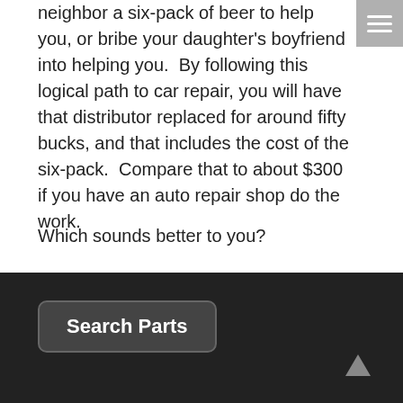neighbor a six-pack of beer to help you, or bribe your daughter's boyfriend into helping you.  By following this logical path to car repair, you will have that distributor replaced for around fifty bucks, and that includes the cost of the six-pack.  Compare that to about $300 if you have an auto repair shop do the work.
Which sounds better to you?
[Figure (other): Share icon: a circle with a share/forward arrow symbol inside]
Share this post
[Figure (other): Dark footer area with Search Parts button and up-arrow icon]